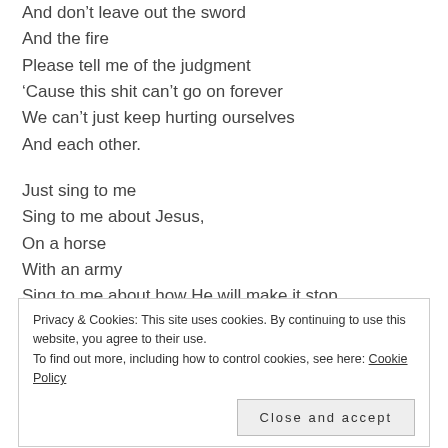And don't leave out the sword
And the fire
Please tell me of the judgment
'Cause this shit can't go on forever
We can't just keep hurting ourselves
And each other.
Just sing to me
Sing to me about Jesus,
On a horse
With an army
Sing to me about how He will make it stop.
Privacy & Cookies: This site uses cookies. By continuing to use this website, you agree to their use. To find out more, including how to control cookies, see here: Cookie Policy
And the hardness makes the shortness